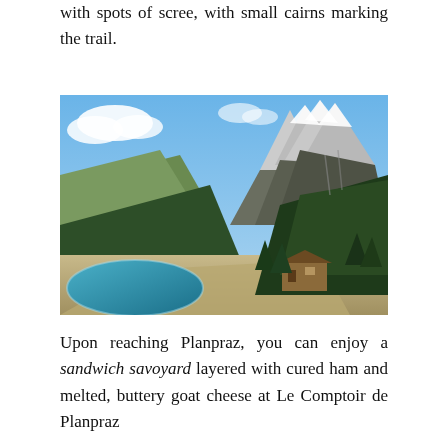with spots of scree, with small cairns marking the trail.
[Figure (photo): Aerial view of an Alpine mountain landscape with a turquoise reservoir lake in the foreground, forested slopes, a chalet building, and dramatic snow-capped rocky peaks in the background under a blue sky with clouds.]
Upon reaching Planpraz, you can enjoy a sandwich savoyard layered with cured ham and melted, buttery goat cheese at Le Comptoir de Planpraz